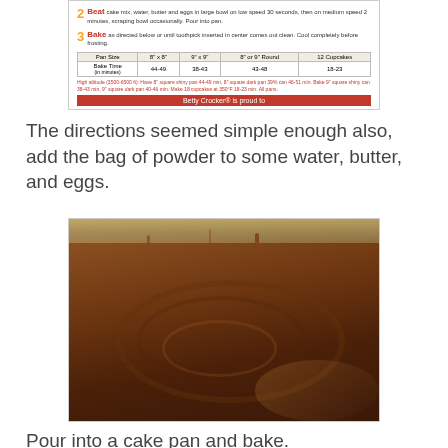[Figure (photo): Partial view of a Betty Crocker cake mix box showing steps 2 and 3 (Beat and Bake) with a baking time table listing pan sizes and bake times]
The directions seemed simple enough also, add the bag of powder to some water, butter, and eggs.
[Figure (photo): A mixing bowl seen from above containing chocolate cake batter with swirl marks from mixing]
Pour into a cake pan and bake.